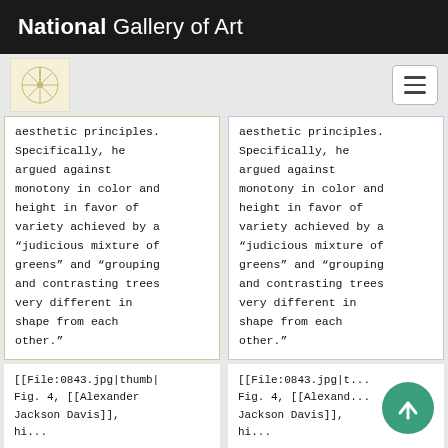National Gallery of Art
aesthetic principles. Specifically, he argued against monotony in color and height in favor of variety achieved by a “judicious mixture of greens” and “grouping and contrasting trees very different in shape from each other.”
aesthetic principles. Specifically, he argued against monotony in color and height in favor of variety achieved by a “judicious mixture of greens” and “grouping and contrasting trees very different in shape from each other.”
[[File:0843.jpg|thumb| Fig. 4, [[Alexander Jackson Davis]], hi...
[[File:0843.jpg|t... Fig. 4, [[Alexand... Jackson Davis]], hi...